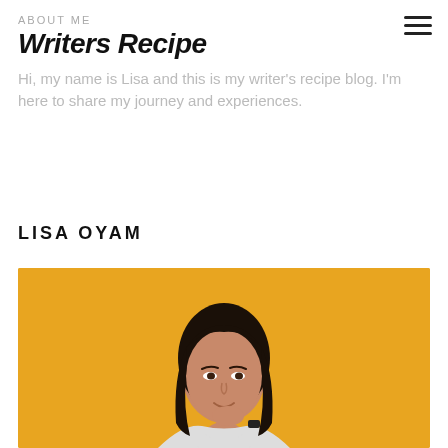ABOUT ME
Writers Recipe
Hi, my name is Lisa and this is my writer's recipe blog. I'm here to share my journey and experiences.
LISA OYAM
[Figure (photo): Portrait of a young Asian woman with long dark hair, smiling, resting her hand on her chin, wearing a white sleeveless top with a black smartwatch, against a golden yellow background.]